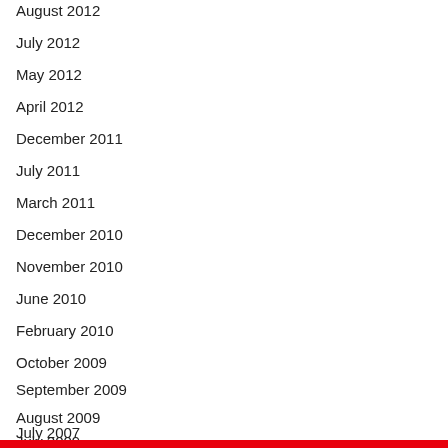August 2012
July 2012
May 2012
April 2012
December 2011
July 2011
March 2011
December 2010
November 2010
June 2010
February 2010
October 2009
September 2009
August 2009
July 2009
July 2007